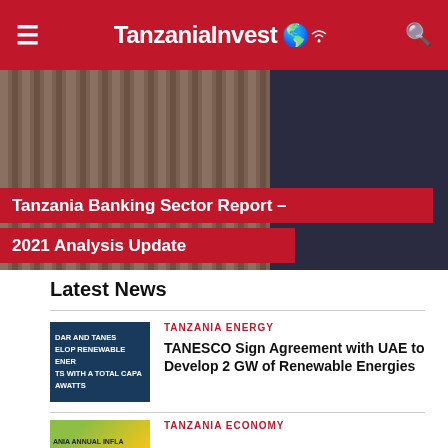TanzaniaInvest
[Figure (photo): Hero background photo showing what appears to be filing cabinets or records shelves on the left, and a dark blue background on the right]
Tanzania Banking Sector Report – 2021 Analysis Update
Latest News
[Figure (photo): Dark blue thumbnail image with white text reading: DAR AND TANES ELOP RENEWABLE ENER TS WITH A TOTAL CAPA AWATTS]
TANZANIA ENERGY
TANESCO Sign Agreement with UAE to Develop 2 GW of Renewable Energies
[Figure (photo): Thumbnail image with green and yellow colors (Tanzania flag colors) with text ANIA ANNUAL INFLA]
TANZANIA ECONOMY